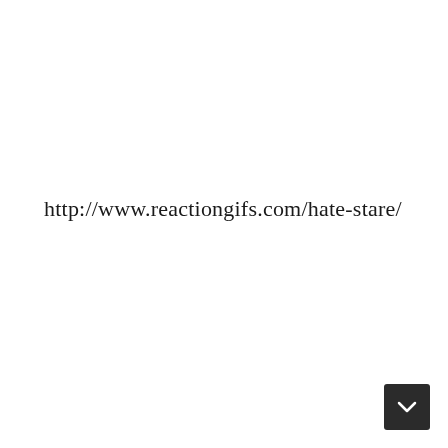http://www.reactiongifs.com/hate-stare/
[Figure (other): Dark rounded rectangle navigation button with a white downward chevron/arrow icon in the bottom-right corner of the page]